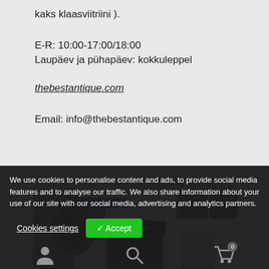kaks klaasviitriini ).
E-R: 10:00-17:00/18:00
Laupäev ja pühapäev: kokkuleppel
thebestantique.com
Email: info@thebestantique.com
[Figure (photo): Exterior photo of the RuuAntíik antique shop storefront, showing a white building facade with arched entryway, wooden door, windows with iron bars, and a shop sign reading RuuAntíik. A street sign reads Piaskoja plats 11.]
We use cookies to personalise content and ads, to provide social media features and to analyse our traffic. We also share information about your use of our site with our social media, advertising and analytics partners.